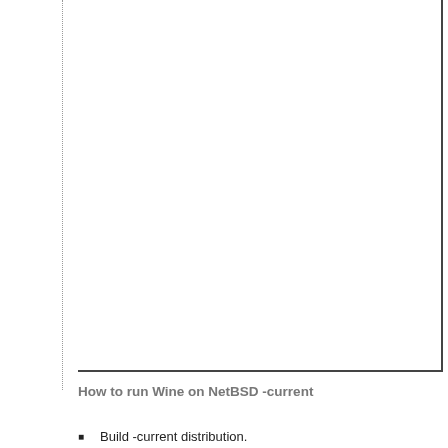How to run Wine on NetBSD -current
Build -current distribution.
Compile -current kernel with